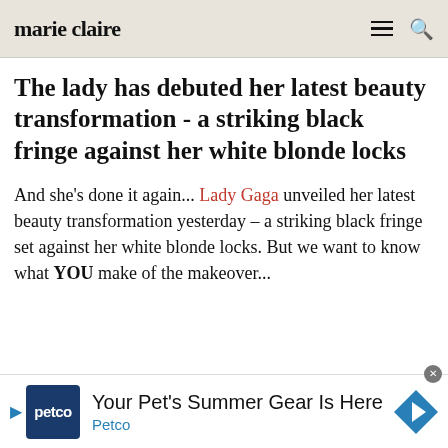marie claire
The lady has debuted her latest beauty transformation - a striking black fringe against her white blonde locks
And she's done it again... Lady Gaga unveiled her latest beauty transformation yesterday – a striking black fringe set against her white blonde locks. But we want to know what YOU make of the makeover...
[Figure (other): Petco advertisement banner: 'Your Pet's Summer Gear Is Here - Petco']